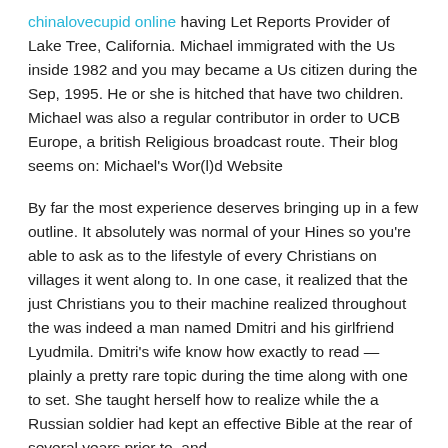chinalovecupid online having Let Reports Provider of Lake Tree, California. Michael immigrated with the Us inside 1982 and you may became a Us citizen during the Sep, 1995. He or she is hitched that have two children. Michael was also a regular contributor in order to UCB Europe, a british Religious broadcast route. Their blog seems on: Michael's Wor(l)d Website
By far the most experience deserves bringing up in a few outline. It absolutely was normal of your Hines so you're able to ask as to the lifestyle of every Christians on villages it went along to. In one case, it realized that the just Christians you to their machine realized throughout the was indeed a man named Dmitri and his girlfriend Lyudmila. Dmitri's wife know how exactly to read — plainly a pretty rare topic during the time along with one to set. She taught herself how to realize while the a Russian soldier had kept an effective Bible at the rear of several years prior to, and